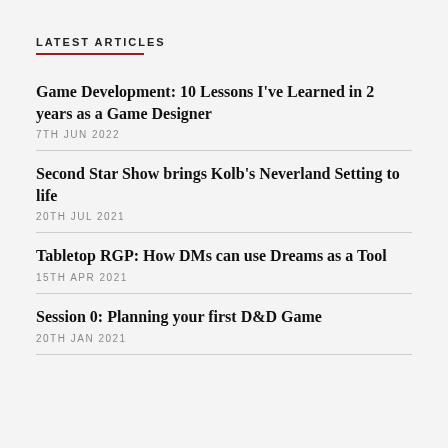LATEST ARTICLES
Game Development: 10 Lessons I've Learned in 2 years as a Game Designer
7TH JUN 2022
Second Star Show brings Kolb's Neverland Setting to life
20TH JUL 2021
Tabletop RGP: How DMs can use Dreams as a Tool
15TH APR 2021
Session 0: Planning your first D&D Game
20TH JAN 2021